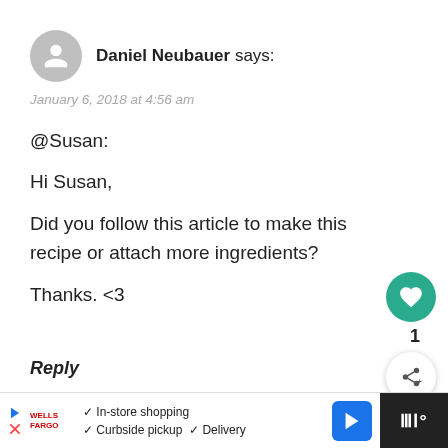[Figure (illustration): Gray circular avatar icon with person silhouette]
Daniel Neubauer says:
January 6, 2018 at 4:56 am
@Susan:

Hi Susan,

Did you follow this article to make this recipe or attach more ingredients?

Thanks. <3
Reply
1
WHAT'S NEXT → Newsletter Signup
Danielle @ Wild Coast Tales says:
In-store shopping  Curbside pickup  Delivery